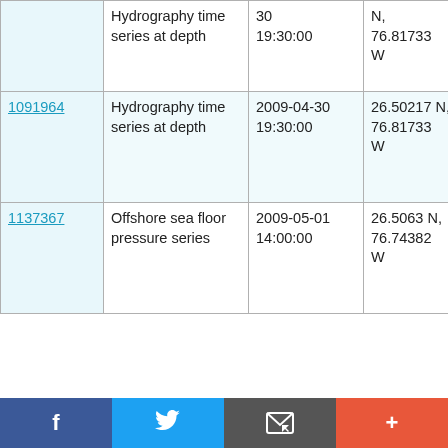| ID | Type | Date | Location | Platform |
| --- | --- | --- | --- | --- |
| (partial top row) | Hydrography time series at depth | 30 19:30:00 | N, 76.81733 W | Ship Ronald H. Brown RB0901 |
| 1091964 | Hydrography time series at depth | 2009-04-30 19:30:00 | 26.50217 N, 76.81733 W | NOAA Ship Ronald H. Brown RB0901 |
| 1137367 | Offshore sea floor pressure series | 2009-05-01 14:00:00 | 26.5063 N, 76.74382 W | NOAA Ship Ronald H. Brown RB0901 |